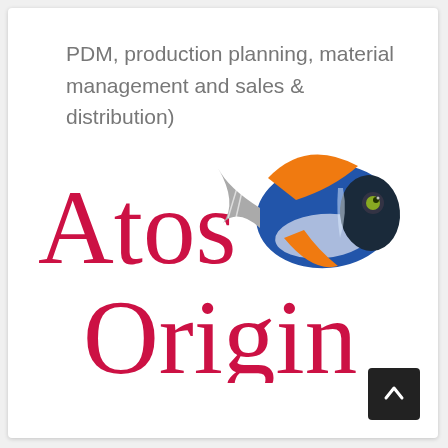PDM, production planning, material management and sales & distribution)
[Figure (logo): Atos Origin company logo featuring the text 'Atos Origin' in red serif font with a blue and orange tropical fish graphic between 'Atos' and 'Origin']